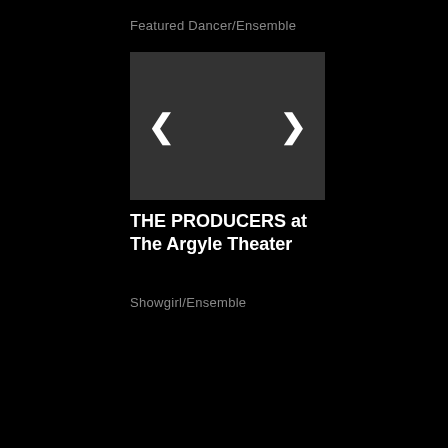Featured Dancer/Ensemble
[Figure (screenshot): Dark gray placeholder image box with left and right navigation arrows (chevrons) on either side]
THE PRODUCERS at The Argyle Theater
Showgirl/Ensemble